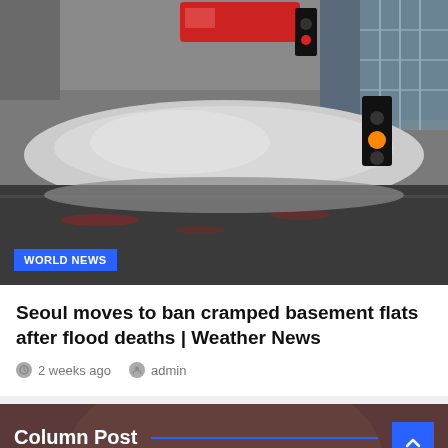[Figure (photo): Flooded street with slush and debris, traffic light showing red, large structure or overpass visible in background. Water and snow/ice mixture covering road.]
WORLD NEWS
Seoul moves to ban cramped basement flats after flood deaths | Weather News
2 weeks ago   admin
[Figure (photo): Background photo of a person (partial, blurred), with Column Post section overlay showing article thumbnail and headline about Israeli assault.]
Column Post
'I lost my fiance': Israeli assault ends wedding plans in Gaza | Gaza News